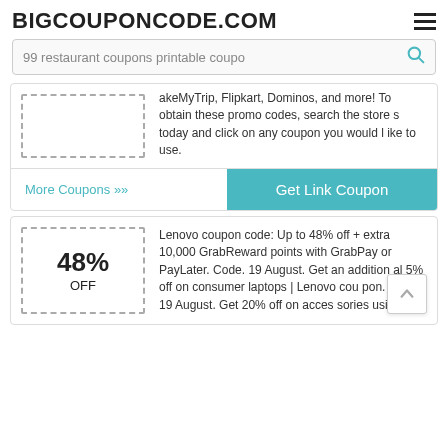BIGCOUPONCODE.COM
99 restaurant coupons printable coupo
akeMyTrip, Flipkart, Dominos, and more! To obtain these promo codes, search the stores today and click on any coupon you would like to use.
More Coupons ›› | Get Link Coupon
48% OFF
Lenovo coupon code: Up to 48% off + extra 10,000 GrabReward points with GrabPay or PayLater. Code. 19 August. Get an additional 5% off on consumer laptops | Lenovo coupon. Code. 19 August. Get 20% off on accessories using ...